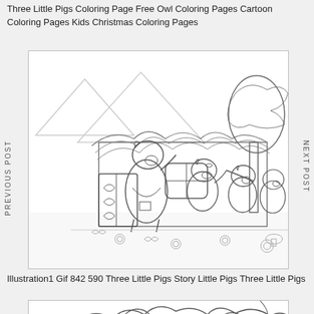Three Little Pigs Coloring Page Free Owl Coloring Pages Cartoon Coloring Pages Kids Christmas Coloring Pages
[Figure (illustration): Black and white coloring page illustration of Three Little Pigs scene: a mother pig in an apron and dress waving goodbye to three young pigs walking together, with a thatched-roof house, gate, window, trees, mountains, butterflies and flowers in the background.]
Illustration1 Gif 842 590 Three Little Pigs Story Little Pigs Three Little Pigs
[Figure (illustration): Partial view of another coloring page showing pig characters and foliage, cropped at the bottom of the page.]